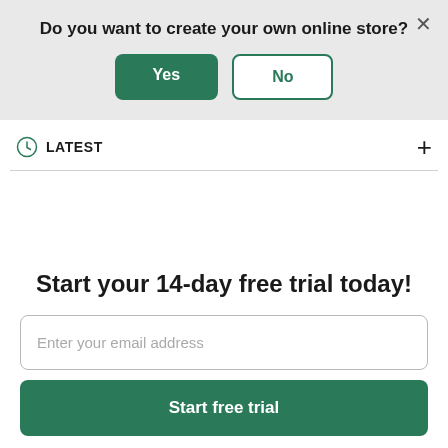Do you want to create your own online store?
Yes
No
LATEST
Start your 14-day free trial today!
Enter your email address
Start free trial